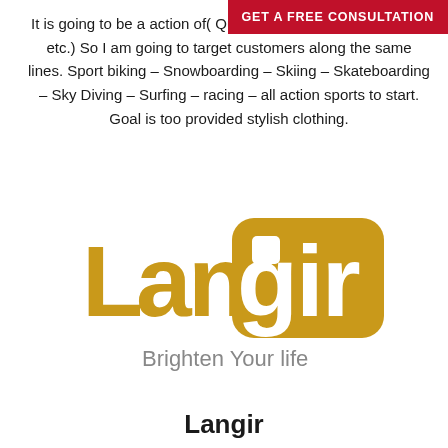GET A FREE CONSULTATION
It is going to be a action of( Quicksilver – Billabong – Hurley etc.) So I am going to target customers along the same lines. Sport biking – Snowboarding – Skiing – Skateboarding – Sky Diving – Surfing – racing – all action sports to start. Goal is too provided stylish clothing.
[Figure (logo): Langir logo — gold stylized text 'Langir' with a rounded square badge behind the 'gir' portion, and tagline 'Brighten Your life' in grey below]
Langir